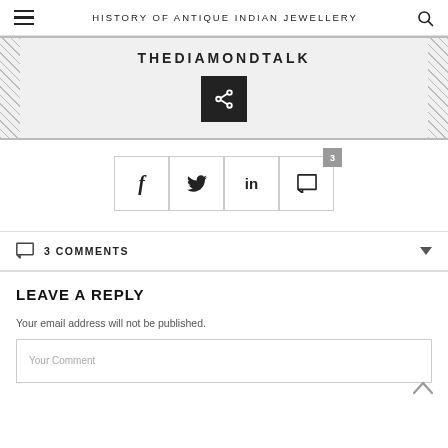HISTORY OF ANTIQUE INDIAN JEWELLERY
[Figure (logo): THEDIAMONDTALK banner with link icon and hatched border decoration]
[Figure (infographic): Share buttons row: Facebook (f), Twitter (bird), LinkedIn (in), Comment with badge count 3]
3 COMMENTS
LEAVE A REPLY
Your email address will not be published.
Your Comment